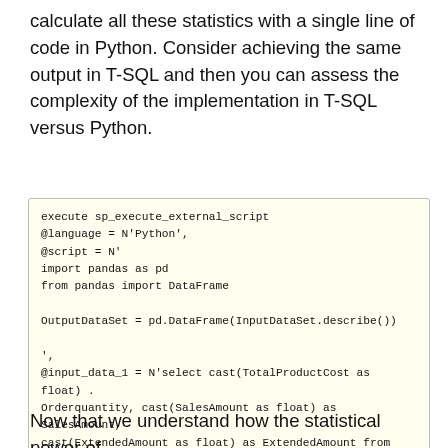calculate all these statistics with a single line of code in Python. Consider achieving the same output in T-SQL and then you can assess the complexity of the implementation in T-SQL versus Python.
execute sp_execute_external_script
@language = N'Python',
@script = N'
import pandas as pd
from pandas import DataFrame

OutputDataSet = pd.DataFrame(InputDataSet.describe())

',
@input_data_1 = N'select cast(TotalProductCost as float) ...
Orderquantity, cast(SalesAmount as float) as SalesAmount,
cast(ExtendedAmount as float) as ExtendedAmount from Fact...
with result sets ((TotalProductCost float, UnitPrice floa...
SalesAmount float, TaxAmt float, Freight float, ExtendedA...
Now that we understand how the statistical power of